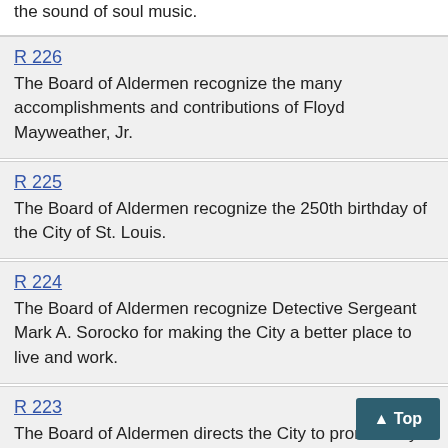the sound of soul music.
R 226
The Board of Aldermen recognize the many accomplishments and contributions of Floyd Mayweather, Jr.
R 225
The Board of Aldermen recognize the 250th birthday of the City of St. Louis.
R 224
The Board of Aldermen recognize Detective Sergeant Mark A. Sorocko for making the City a better place to live and work.
R 223
The Board of Aldermen directs the City to prominently display the Red, Black and Green at, in and outside of City Hall each year d... Read
R 222